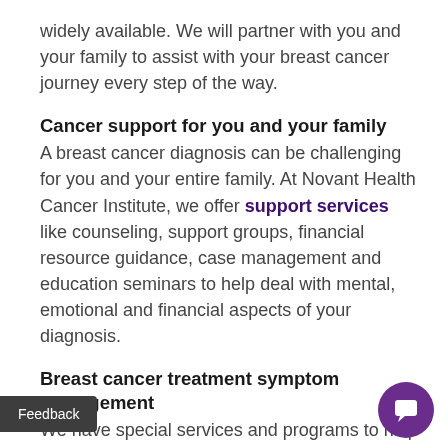widely available. We will partner with you and your family to assist with your breast cancer journey every step of the way.
Cancer support for you and your family
A breast cancer diagnosis can be challenging for you and your entire family. At Novant Health Cancer Institute, we offer support services like counseling, support groups, financial resource guidance, case management and education seminars to help deal with mental, emotional and financial aspects of your diagnosis.
Breast cancer treatment symptom management
We have special services and programs to help you manage the side effects that you may be experiencing from your breast cancer treatment as weight loss, nausea, anxiety and some pain.